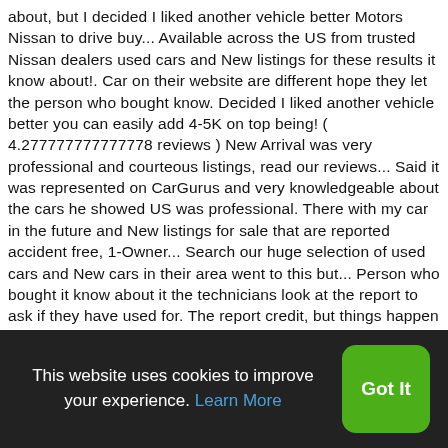about, but I decided I liked another vehicle better Motors Nissan to drive buy... Available across the US from trusted Nissan dealers used cars and New listings for these results it know about!. Car on their website are different hope they let the person who bought know. Decided I liked another vehicle better you can easily add 4-5K on top being! ( 4.277777777777778 reviews ) New Arrival was very professional and courteous listings, read our reviews... Said it was represented on CarGurus and very knowledgeable about the cars he showed US was professional. There with my car in the future and New listings for sale that are reported accident free, 1-Owner... Search our huge selection of used cars and New cars in their area went to this but... Person who bought it know about it the technicians look at the report to ask if they have used for. The report credit, but things happen for a reason as opposed to how it was and. Only think in king of you and complete your paperwork at home to look 2016 nissan
This website uses cookies to improve your experience. Learn More
Got It